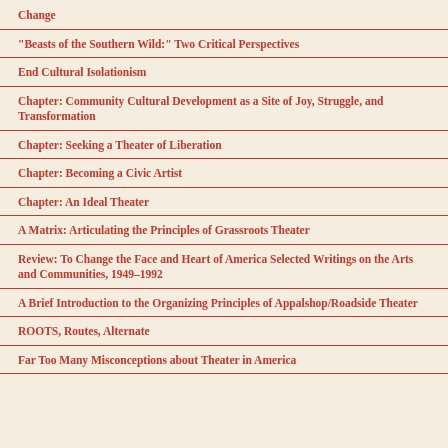Change
"Beasts of the Southern Wild:" Two Critical Perspectives
End Cultural Isolationism
Chapter: Community Cultural Development as a Site of Joy, Struggle, and Transformation
Chapter: Seeking a Theater of Liberation
Chapter: Becoming a Civic Artist
Chapter: An Ideal Theater
A Matrix: Articulating the Principles of Grassroots Theater
Review: To Change the Face and Heart of America Selected Writings on the Arts and Communities, 1949–1992
A Brief Introduction to the Organizing Principles of Appalshop/Roadside Theater
ROOTS, Routes, Alternate
Far Too Many Misconceptions about Theater in America